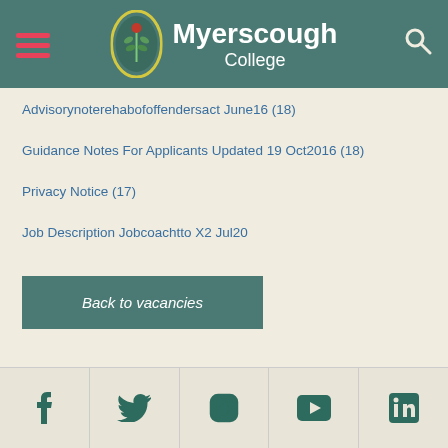[Figure (logo): Myerscough College logo with green oval badge and white text header]
Advisorynoterehabofoffendersact June16 (18)
Guidance Notes For Applicants Updated 19 Oct2016 (18)
Privacy Notice (17)
Job Description Jobcoachtto X2 Jul20
Back to vacancies
[Figure (infographic): Social media footer icons: Facebook, Twitter, Instagram, YouTube, LinkedIn]